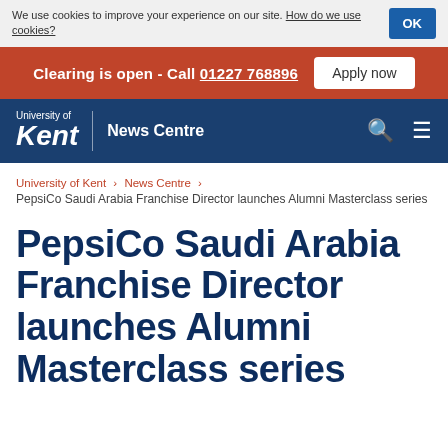We use cookies to improve your experience on our site. How do we use cookies?
Clearing is open - Call 01227 768896   Apply now
University of Kent | News Centre
University of Kent > News Centre > PepsiCo Saudi Arabia Franchise Director launches Alumni Masterclass series
PepsiCo Saudi Arabia Franchise Director launches Alumni Masterclass series